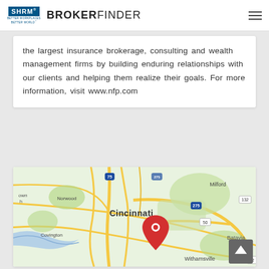SHRM BROKERFINDER
the largest insurance brokerage, consulting and wealth management firms by building enduring relationships with our clients and helping them realize their goals. For more information, visit www.nfp.com
[Figure (map): Google Maps view showing Cincinnati and surrounding areas including Norwood, Milford, Covington, Withamsville, and Batavia. A red location pin is placed in the Cincinnati/Anderson area. Roads including I-75, I-275, I-50, and routes 132 and 32 are visible.]